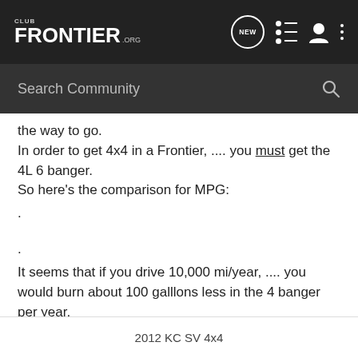CLUB FRONTIER.ORG
Search Community
the way to go.
In order to get 4x4 in a Frontier, .... you must get the 4L 6 banger.
So here's the comparison for MPG:
.
.
It seems that if you drive 10,000 mi/year, .... you would burn about 100 galllons less in the 4 banger per year.
In the long run, .... let's say 10 years with a 2.5L ... that's like $3000.00 less on gas.
2012 KC SV 4x4